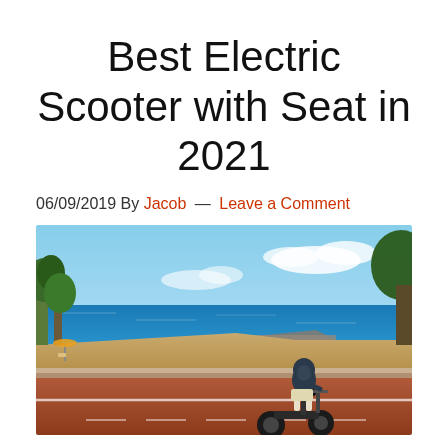Best Electric Scooter with Seat in 2021
06/09/2019 By Jacob — Leave a Comment
[Figure (photo): A person wearing a hoodie riding an electric scooter with a seat on a coastal road, with a sandy beach, blue sea, and sky in the background. Trees and beach facilities are visible on the left.]